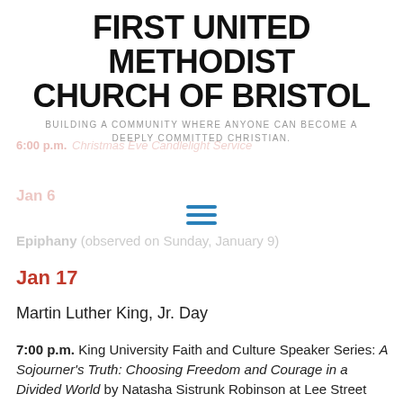FIRST UNITED METHODIST CHURCH OF BRISTOL
BUILDING A COMMUNITY WHERE ANYONE CAN BECOME A DEEPLY COMMITTED CHRISTIAN.
6:00 p.m. Christmas Eve Candlelight Service
Jan 6
[Figure (other): Hamburger menu icon — three horizontal blue lines]
Epiphany (observed on Sunday, January 9)
Jan 17
Martin Luther King, Jr. Day
7:00 p.m. King University Faith and Culture Speaker Series: A Sojourner's Truth: Choosing Freedom and Courage in a Divided World by Natasha Sistrunk Robinson at Lee Street Baptist Church